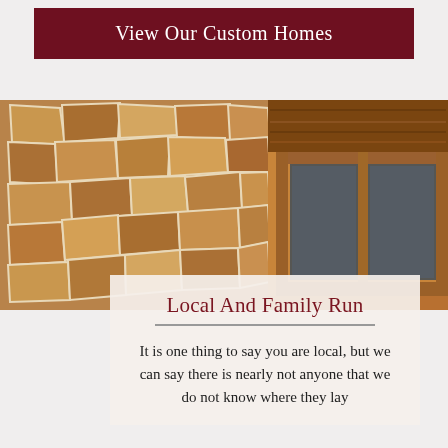View Our Custom Homes
[Figure (photo): Interior photo of a custom home showing a stone wall on the left and wooden beam/window frame on the right]
Local And Family Run
It is one thing to say you are local, but we can say there is nearly not anyone that we do not know where they lay